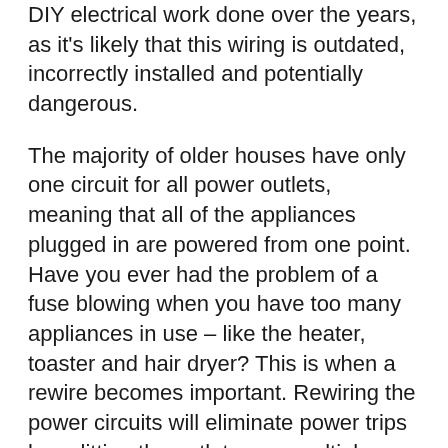DIY electrical work done over the years, as it's likely that this wiring is outdated, incorrectly installed and potentially dangerous.
The majority of older houses have only one circuit for all power outlets, meaning that all of the appliances plugged in are powered from one point. Have you ever had the problem of a fuse blowing when you have too many appliances in use – like the heater, toaster and hair dryer? This is when a rewire becomes important. Rewiring the power circuits will eliminate power trips by splitting the outlets over multiple circuits so that they don't overload.
It's also important to make sure that your main switchboard and earthing system is up-to-date. Residual Current Devices are paramount for the safety of your home, as they provide protection